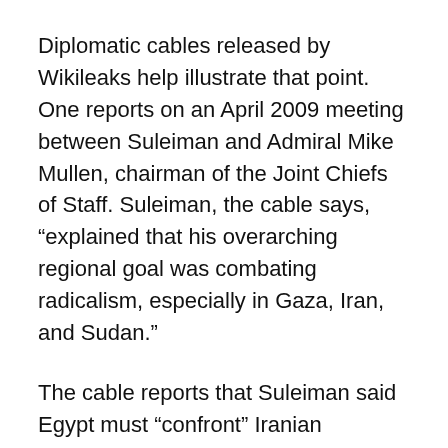Diplomatic cables released by Wikileaks help illustrate that point. One reports on an April 2009 meeting between Suleiman and Admiral Mike Mullen, chairman of the Joint Chiefs of Staff. Suleiman, the cable says, “explained that his overarching regional goal was combating radicalism, especially in Gaza, Iran, and Sudan.”
The cable reports that Suleiman said Egypt must “confront” Iranian attempts to smuggle arms to Gaza and quotes him saying “a Gaza in the hands of radicals will never be calm.”
A 2007 cable discusses scenarios for presidential succession and reports the view of an Egyptian